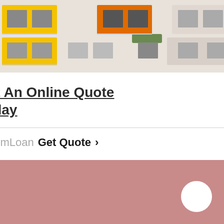[Figure (photo): Photo of apartment building exterior with colorful yellow and orange balconies]
Get An Online Quote Today
CommLoan  Get Quote  >